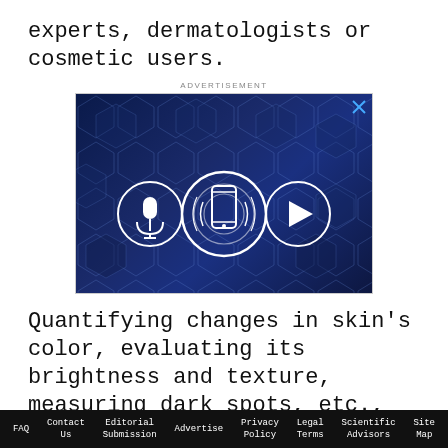experts, dermatologists or cosmetic users.
[Figure (other): Advertisement banner with dark blue hexagonal tech background, showing three white circular icons: a microphone on the left, a smartphone with sound waves in the center, and a play button on the right.]
Quantifying changes in skin's color, evaluating its brightness and texture, measuring dark spots, etc.,
FAQ  Contact Us  Editorial Submission  Advertise  Privacy Policy  Legal Terms  Scientific Advisors  Site Map